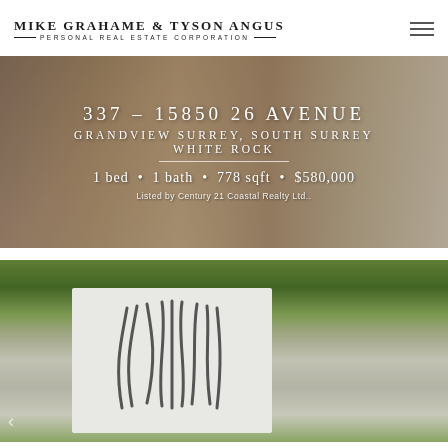MIKE GRAHAME & TYSON ANGUS PERSONAL REAL ESTATE CORPORATION
[Figure (photo): Interior photo of a living room with hardwood floors, white sofa, and wooden coffee table, overlaid with property listing text: 337 - 15850 26 AVENUE, GRANDVIEW SURREY, SOUTH SURREY WHITE ROCK, 1 bed • 1 bath • 778 sqft • $580,000, Listed by Century 21 Coastal Realty Ltd..]
[Figure (photo): Outdoor photo showing a real estate sign/panel with decorative M logo, surrounded by green garden foliage]